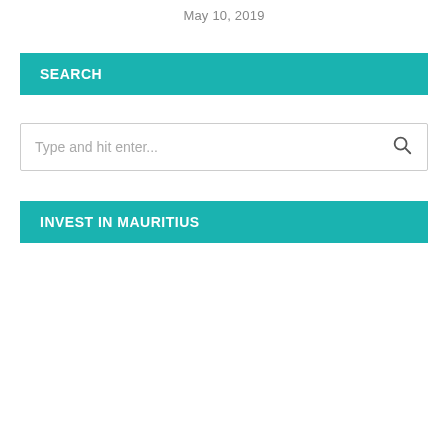May 10, 2019
SEARCH
Type and hit enter...
INVEST IN MAURITIUS